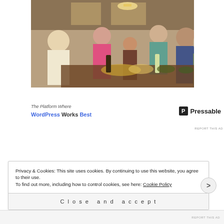[Figure (photo): Group of people standing around a kitchen table with food, drinks, and bottles, sharing a meal together indoors.]
[Figure (other): Advertisement banner: 'The Platform Where WordPress Works Best' with Pressable logo]
REPORT THIS AD
Privacy & Cookies: This site uses cookies. By continuing to use this website, you agree to their use.
To find out more, including how to control cookies, see here: Cookie Policy
Close and accept